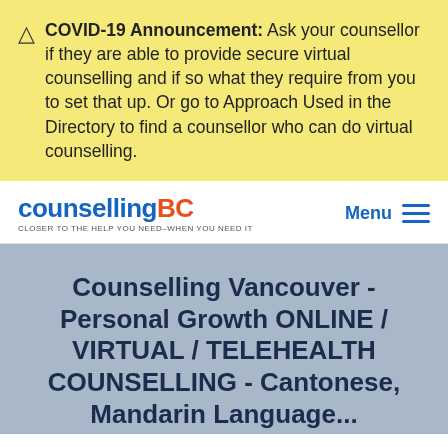COVID-19 Announcement: Ask your counsellor if they are able to provide secure virtual counselling and if so what they require from you to set that up. Or go to Approach Used in the Directory to find a counsellor who can do virtual counselling.
counsellingBC — CLOSER TO THE HELP YOU NEED–WHEN YOU NEED IT | Menu
Counselling Vancouver - Personal Growth ONLINE / VIRTUAL / TELEHEALTH COUNSELLING - Cantonese, Mandarin Language...